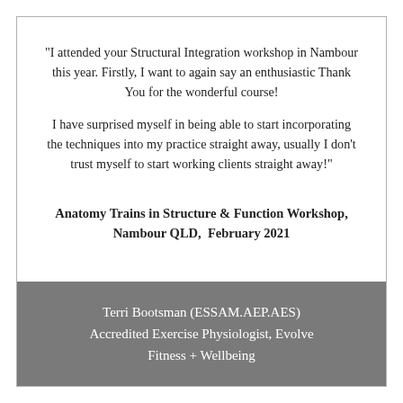"I attended your Structural Integration workshop in Nambour this year. Firstly, I want to again say an enthusiastic Thank You for the wonderful course! I have surprised myself in being able to start incorporating the techniques into my practice straight away, usually I don't trust myself to start working clients straight away!"
Anatomy Trains in Structure & Function Workshop, Nambour QLD, February 2021
Terri Bootsman (ESSAM.AEP.AES) Accredited Exercise Physiologist, Evolve Fitness + Wellbeing